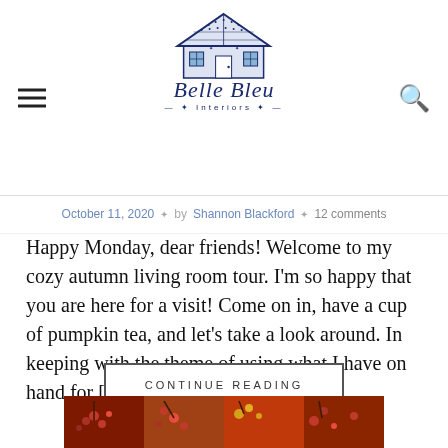[Figure (logo): Belle Bleu Interiors logo with illustrated Tudor-style house in blue and white above stylized italic script text reading 'Belle Bleu Interiors']
October 11, 2020 · by Shannon Blackford · 12 comments
Happy Monday, dear friends! Welcome to my cozy autumn living room tour. I'm so happy that you are here for a visit! Come on in, have a cup of pumpkin tea, and let's take a look around. In keeping with the theme of using what I have on hand for [...]
CONTINUE READING
[Figure (photo): Partial bottom image showing autumn/fall decorative items with red berries and warm seasonal colors]